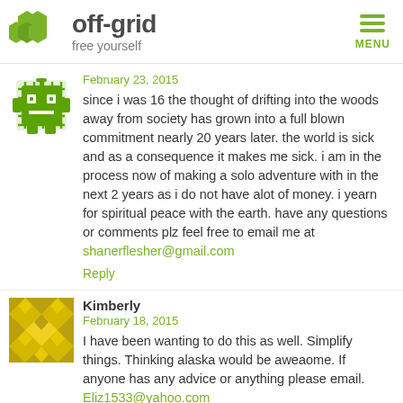[Figure (logo): off-grid free yourself logo with green hexagonal shapes and text]
February 23, 2015
since i was 16 the thought of drifting into the woods away from society has grown into a full blown commitment nearly 20 years later. the world is sick and as a consequence it makes me sick. i am in the process now of making a solo adventure with in the next 2 years as i do not have alot of money. i yearn for spiritual peace with the earth. have any questions or comments plz feel free to email me at shanerflesher@gmail.com
Reply
Kimberly
February 18, 2015
I have been wanting to do this as well. Simplify things. Thinking alaska would be aweaome. If anyone has any advice or anything please email. Eliz1533@yahoo.com